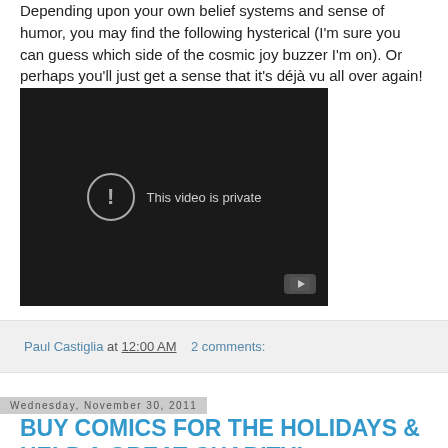Depending upon your own belief systems and sense of humor, you may find the following hysterical (I'm sure you can guess which side of the cosmic joy buzzer I'm on). Or perhaps you'll just get a sense that it's déjà vu all over again!
[Figure (screenshot): Embedded video player showing 'This video is private' message with YouTube logo in bottom-right corner, dark background.]
Paul Castiglia at 12:00 AM   2 comments:
Wednesday, November 30, 2011
BUY COMICS FOR THE HOLIDAYS & HELP A GREAT CHARITY!